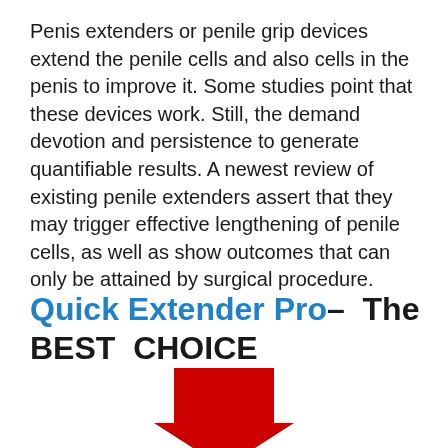Penis extenders or penile grip devices extend the penile cells and also cells in the penis to improve it. Some studies point that these devices work. Still, the demand devotion and persistence to generate quantifiable results. A newest review of existing penile extenders assert that they may trigger effective lengthening of penile cells, as well as show outcomes that can only be attained by surgical procedure.
Quick Extender Pro– The BEST CHOICE
[Figure (illustration): A large red downward-pointing arrow]